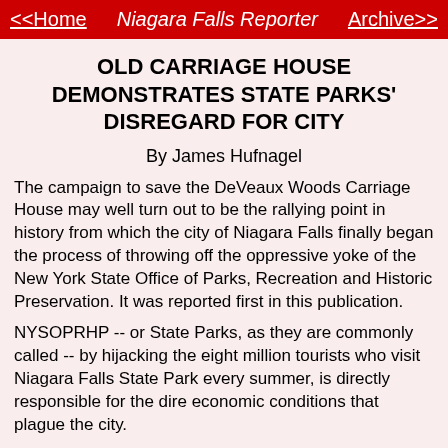<<Home   Niagara Falls Reporter   Archive>>
OLD CARRIAGE HOUSE DEMONSTRATES STATE PARKS' DISREGARD FOR CITY
By James Hufnagel
The campaign to save the DeVeaux Woods Carriage House may well turn out to be the rallying point in history from which the city of Niagara Falls finally began the process of throwing off the oppressive yoke of the New York State Office of Parks, Recreation and Historic Preservation. It was reported first in this publication.
NYSOPRHP -- or State Parks, as they are commonly called -- by hijacking the eight million tourists who visit Niagara Falls State Park every summer, is directly responsible for the dire economic conditions that plague the city.
State Parks owns and operates 80 percent of our waterfront, perpetrating a conspiracy with the multinational corporations Delaware North and Maid of the Mist to deprive the city of the benefits of existing next to one of the great natural wonders and tourist attractions of the world.